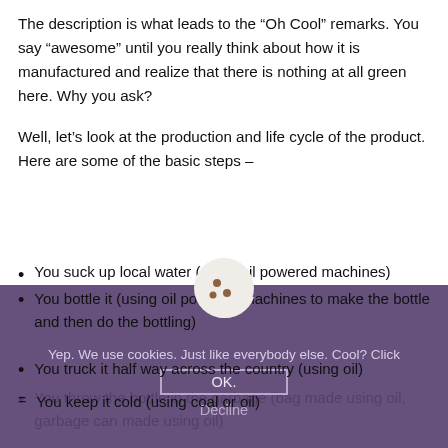The description is what leads to the “Oh Cool” remarks. You say “awesome”  until you really think about how it is manufactured and realize that there is nothing at all green here. Why you ask?
Well, let’s look at the production and life cycle of the product. Here are some of the basic steps –
You suck up local water (using oil powered machines)
You bottle it (using oil powered machines to make the bottle and then do the bottling)
You truck it half way across the country (using oil)
You keep it cold (using coal or oil)
You throw the bottle in the garbage (bag made using oil, garbage can made using oil)